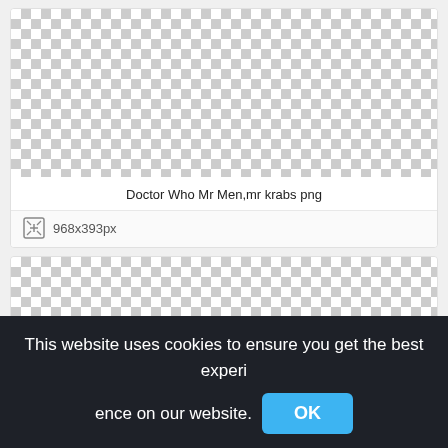[Figure (other): Checkerboard transparency pattern for first image (Doctor Who Mr Men,mr krabs png)]
Doctor Who Mr Men,mr krabs png
968x393px
[Figure (other): Checkerboard transparency pattern for second image]
This website uses cookies to ensure you get the best experience on our website.
OK